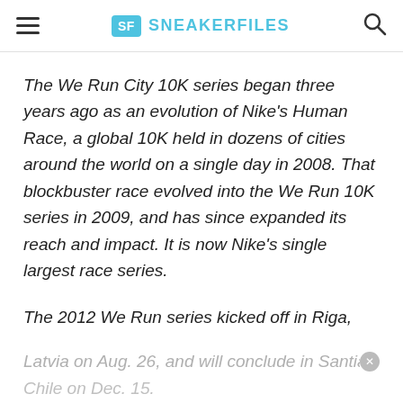SF SNEAKERFILES
The We Run City 10K series began three years ago as an evolution of Nike’s Human Race, a global 10K held in dozens of cities around the world on a single day in 2008. That blockbuster race evolved into the We Run 10K series in 2009, and has since expanded its reach and impact. It is now Nike’s single largest race series.
The 2012 We Run series kicked off in Riga, Latvia on Aug. 26, and will conclude in Santiago, Chile on Dec. 15.